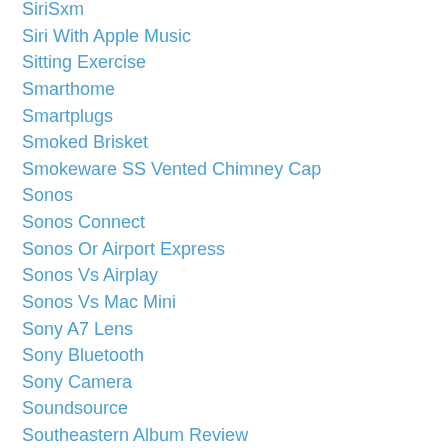SiriSxm
Siri With Apple Music
Sitting Exercise
Smarthome
Smartplugs
Smoked Brisket
Smokeware SS Vented Chimney Cap
Sonos
Sonos Connect
Sonos Or Airport Express
Sonos Vs Airplay
Sonos Vs Mac Mini
Sony A7 Lens
Sony Bluetooth
Sony Camera
Soundsource
Southeastern Album Review
Speaker For Biking
Spotify
Srh940
Srh940414fd02963